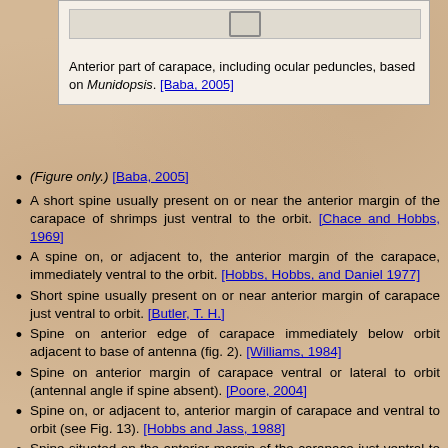[Figure (illustration): Image of anterior part of carapace including ocular peduncles, based on Munidopsis]
Anterior part of carapace, including ocular peduncles, based on Munidopsis. [Baba, 2005]
(Figure only.) [Baba, 2005]
A short spine usually present on or near the anterior margin of the carapace of shrimps just ventral to the orbit. [Chace and Hobbs, 1969]
A spine on, or adjacent to, the anterior margin of the carapace, immediately ventral to the orbit. [Hobbs, Hobbs, and Daniel 1977]
Short spine usually present on or near anterior margin of carapace just ventral to orbit. [Butler, T. H.]
Spine on anterior edge of carapace immediately below orbit adjacent to base of antenna (fig. 2). [Williams, 1984]
Spine on anterior margin of carapace ventral or lateral to orbit (antennal angle if spine absent). [Poore, 2004]
Spine on, or adjacent to, anterior margin of carapace and ventral to orbit (see Fig. 13). [Hobbs and Jass, 1988]
Spine situated on the anterior margin of the carapace just ventral to the orbital margin (Fig. 2A).